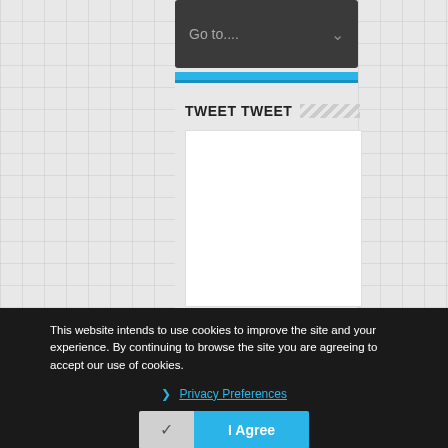[Figure (screenshot): Navigation dropdown bar with 'Go to....' text and chevron icon, dark gray background, with blue accent lines below]
TWEET TWEET
[Figure (screenshot): Empty white tweet content box]
This website intends to use cookies to improve the site and your experience. By continuing to browse the site you are agreeing to accept our use of cookies.
Privacy Preferences
I Agree